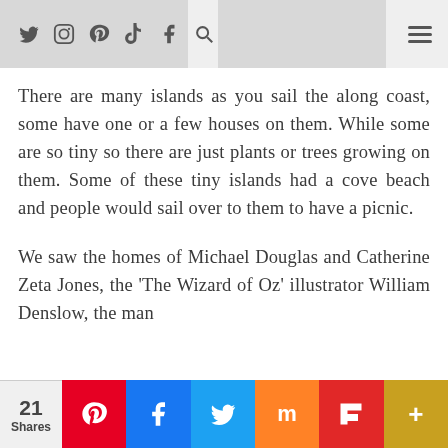Navigation bar with social icons (Twitter, Instagram, Pinterest, TikTok, Facebook, Search) and hamburger menu
There are many islands as you sail the along coast, some have one or a few houses on them. While some are so tiny so there are just plants or trees growing on them. Some of these tiny islands had a cove beach and people would sail over to them to have a picnic.
We saw the homes of Michael Douglas and Catherine Zeta Jones, the 'The Wizard of Oz' illustrator William Denslow, the man
21 Shares — Social share bar: Pinterest, Facebook, Twitter, Mix, Flipboard, More